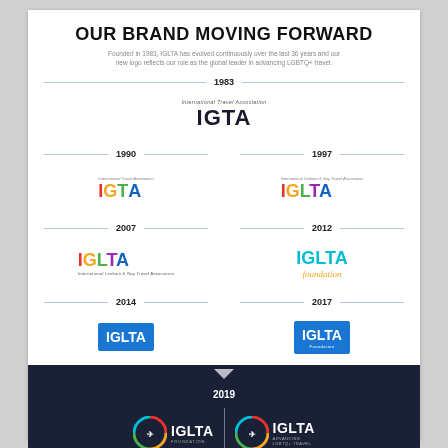OUR BRAND MOVING FORWARD
Founded in 1983, IGLTA has evolved continuously over the last 36 years and our new logo reflects our role as the global leader in advancing LGBTQ+ travel.
[Figure (infographic): Timeline of IGLTA/IGTA logo evolution from 1983 to 2019, showing logo redesigns for years 1983, 1990, 1997, 2007, 2012, 2014, 2017, and 2019.]